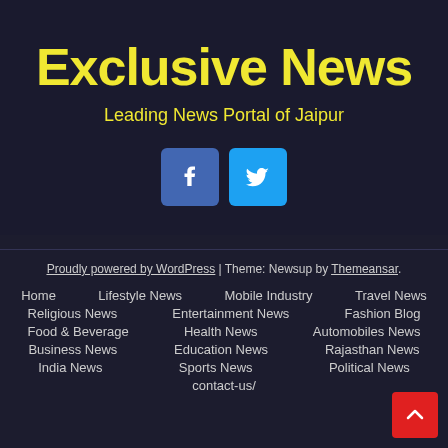Exclusive News
Leading News Portal of Jaipur
[Figure (logo): Facebook and Twitter social media icon buttons]
Proudly powered by WordPress | Theme: Newsup by Themeansar.
Home
Lifestyle News
Mobile Industry
Travel News
Religious News
Entertainment News
Fashion Blog
Food & Beverage
Health News
Automobiles News
Business News
Education News
Rajasthan News
India News
Sports News
Political News
contact-us/